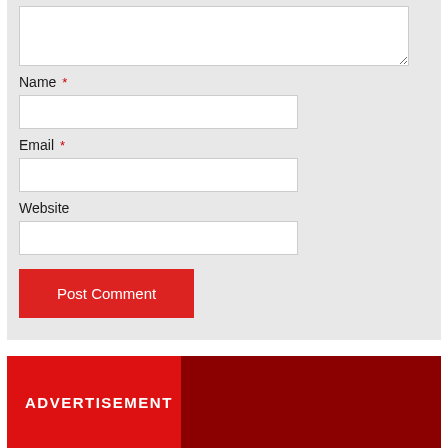[Figure (screenshot): Comment form section with textarea (partially visible at top), Name field with red asterisk required marker, Email field with red asterisk required marker, Website field, and a red Post Comment button, all on a light gray background.]
Name *
Email *
Website
Post Comment
ADVERTISEMENT